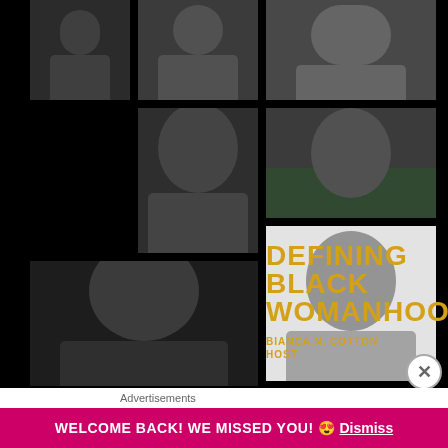[Figure (photo): Podcast promotional collage for 'Defining Black Womanhood' hosted by Bianca N. Cotton. Black background with a grid of black-and-white photographs of Black women. Top row: three photos (woman outdoors, woman smiling in patterned top, woman in garden). Middle row: woman with curly hair resting chin on hand, woman sitting in garden/flowers, woman in black smiling portrait. Bottom large photo: close-up of woman looking up with elaborate necklace/collar. Bottom right text: 'DEFINING BLACK WOMANHOOD' in gold/yellow bold text, 'BIANCA N. COTTON HOST' below.]
Advertisements
WELCOME BACK! WE MISSED YOU! 😍 Dismiss